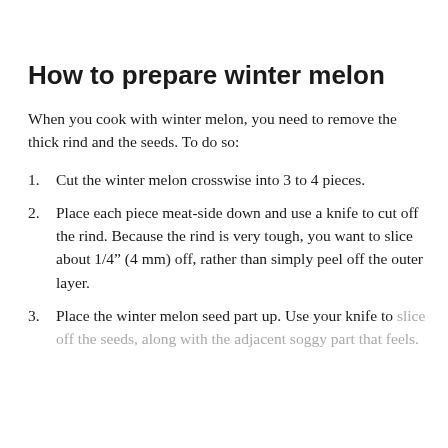How to prepare winter melon
When you cook with winter melon, you need to remove the thick rind and the seeds. To do so:
1. Cut the winter melon crosswise into 3 to 4 pieces.
2. Place each piece meat-side down and use a knife to cut off the rind. Because the rind is very tough, you want to slice about 1/4” (4 mm) off, rather than simply peel off the outer layer.
3. Place the winter melon seed part up. Use your knife to slice off the seeds, along with the adjacent soggy part that feels.